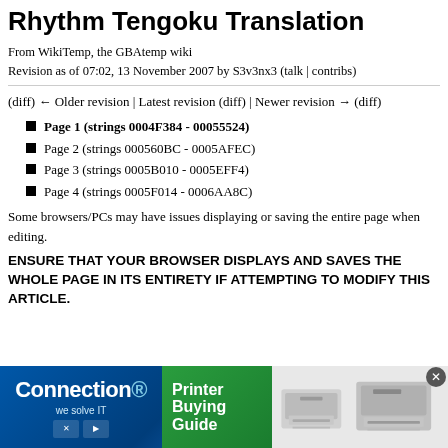Rhythm Tengoku Translation
From WikiTemp, the GBAtemp wiki
Revision as of 07:02, 13 November 2007 by S3v3nx3 (talk | contribs)
(diff) ← Older revision | Latest revision (diff) | Newer revision → (diff)
Page 1 (strings 0004F384 - 00055524)
Page 2 (strings 000560BC - 0005AFEC)
Page 3 (strings 0005B010 - 0005EFF4)
Page 4 (strings 0005F014 - 0006AA8C)
Some browsers/PCs may have issues displaying or saving the entire page when editing.
ENSURE THAT YOUR BROWSER DISPLAYS AND SAVES THE WHOLE PAGE IN ITS ENTIRETY IF ATTEMPTING TO MODIFY THIS ARTICLE.
[Figure (infographic): Advertisement banner for Connection printer buying guide showing blue background with Connection logo, green section with 'Printer Buying Guide' text, and gray section with printer images]